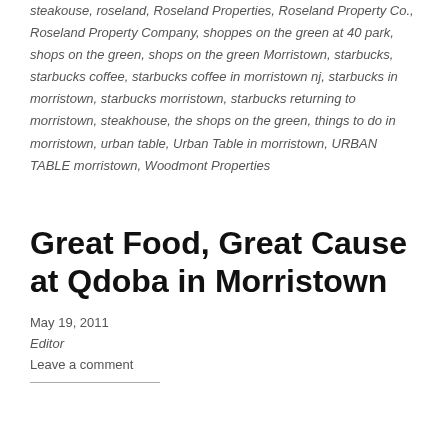steakouse, roseland, Roseland Properties, Roseland Property Co., Roseland Property Company, shoppes on the green at 40 park, shops on the green, shops on the green Morristown, starbucks, starbucks coffee, starbucks coffee in morristown nj, starbucks in morristown, starbucks morristown, starbucks returning to morristown, steakhouse, the shops on the green, things to do in morristown, urban table, Urban Table in morristown, URBAN TABLE morristown, Woodmont Properties
Great Food, Great Cause at Qdoba in Morristown
May 19, 2011
Editor
Leave a comment